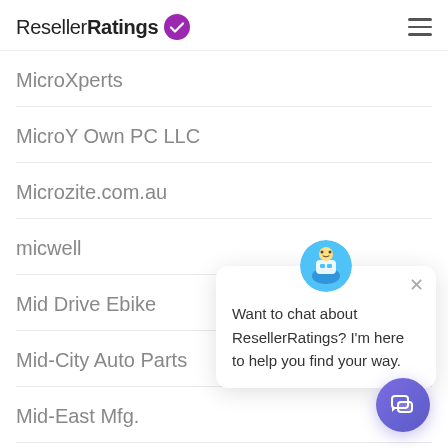ResellerRatings
MicroXperts
MicroY Own PC LLC
Microzite.com.au
micwell
Mid Drive Ebike
Mid-City Auto Parts
Mid-East Mfg.
[Figure (illustration): Chat popup widget with bot avatar and message: 'Want to chat about ResellerRatings? I'm here to help you find your way.' with a purple chat button in the bottom right corner.]